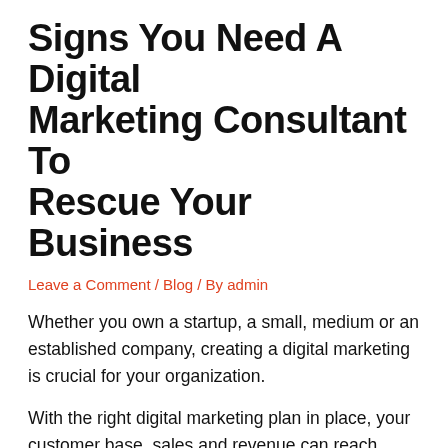Signs You Need A Digital Marketing Consultant To Rescue Your Business
Leave a Comment / Blog / By admin
Whether you own a startup, a small, medium or an established company, creating a digital marketing is crucial for your organization.
With the right digital marketing plan in place, your customer base, sales and revenue can reach greater heights.
Therefore, digital marketing is crucial for giving you the edge you need to thrive in an ultra competitive business environment.